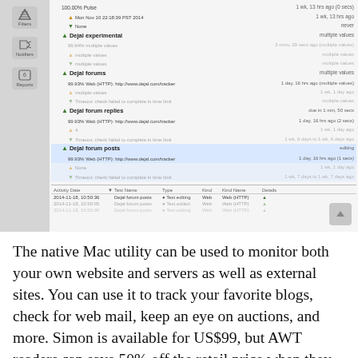[Figure (screenshot): Screenshot of a Mac monitoring application (Simon) showing a list of monitors including 'Dejal experimental', 'Dejal forums', 'Dejal forum replies', and 'Dejal forum posts' with status indicators, URLs, and timestamps. A table at the bottom shows activity log entries. A sidebar with Filters, Notifiers, and Reports icons is visible on the left.]
The native Mac utility can be used to monitor both your own website and servers as well as external sites. You can use it to track your favorite blogs, check for web mail, keep an eye on auctions, and more. Simon is available for US$99, but AWT readers can save 50% off the retail price when they use the promo code "PHOENIX" during checkout. You also can use this Dejal Store link to apply the promo code and receive the $49 discount automatically.